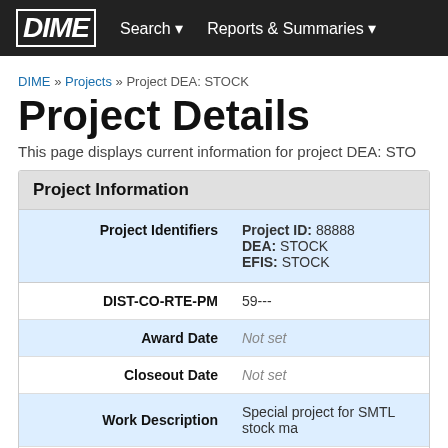DIME   Search ▾   Reports & Summaries ▾
DIME » Projects » Project DEA: STOCK
Project Details
This page displays current information for project DEA: STOCK
| Field | Value |
| --- | --- |
| Project Identifiers | Project ID: 88888
DEA: STOCK
EFIS: STOCK |
| DIST-CO-RTE-PM | 59--- |
| Award Date | Not set |
| Closeout Date | Not set |
| Work Description | Special project for SMTL stock ma |
| Location Description | Not set |